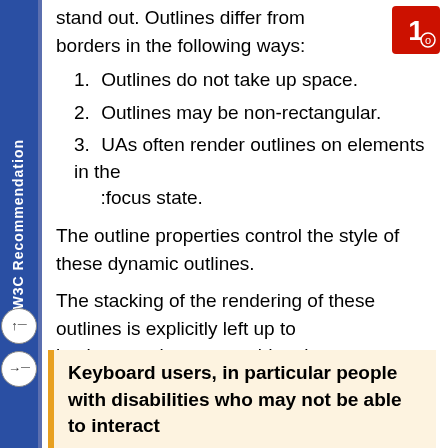W3C Recommendation
stand out. Outlines differ from borders in the following ways:
Outlines do not take up space.
Outlines may be non-rectangular.
UAs often render outlines on elements in the :focus state.
The outline properties control the style of these dynamic outlines.
The stacking of the rendering of these outlines is explicitly left up to implementations to provide a better user experience per platform. This supersedes the stacking of outlines as defined in Appendix E of CSS 2.1 [CSS2].
Keyboard users, in particular people with disabilities who may not be able to interact